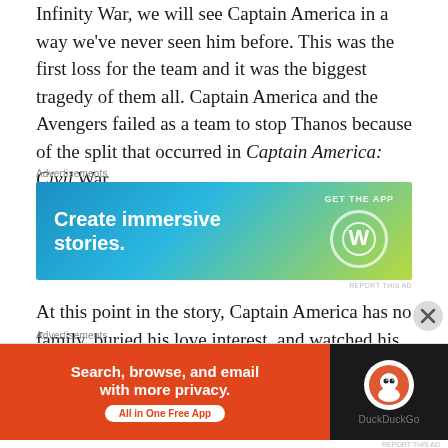Infinity War, we will see Captain America in a way we've never seen him before. This was the first loss for the team and it was the biggest tragedy of them all. Captain America and the Avengers failed as a team to stop Thanos because of the split that occurred in Captain America: Civil War.
[Figure (other): Advertisement banner: WordPress app ad. Text: 'Create immersive stories.' with 'GET THE APP' and WordPress logo on blue-green gradient background.]
At this point in the story, Captain America has no family, buried his love interest, and watched his best friend turn into dust. Captain America now fights to keep his ideology preserved so
[Figure (other): Advertisement banner: DuckDuckGo app ad. Text: 'Search, browse, and email with more privacy.' 'All in One Free App' on orange background with DuckDuckGo logo on dark right side.]